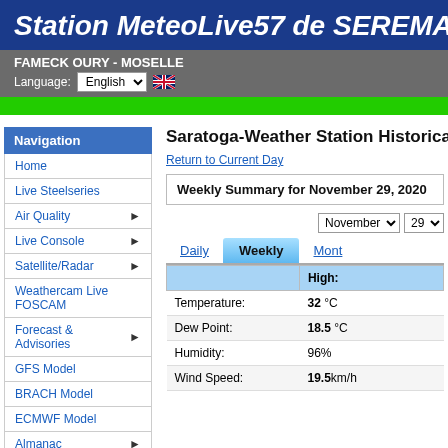Station MeteoLive57 de SEREMAN
FAMECK OURY - MOSELLE
Language: English
Navigation
Home
Live Steelseries
Air Quality
Live Console
Satellite/Radar
Weathercam Live FOSCAM
Forecast & Advisories
GFS Model
BRACH Model
ECMWF Model
Almanac
Saratoga-Weather Station Historical
Return to Current Day
Weekly Summary for November 29, 2020
|  | High: |
| --- | --- |
| Temperature: | 32 °C |
| Dew Point: | 18.5 °C |
| Humidity: | 96% |
| Wind Speed: | 19.5km/h |